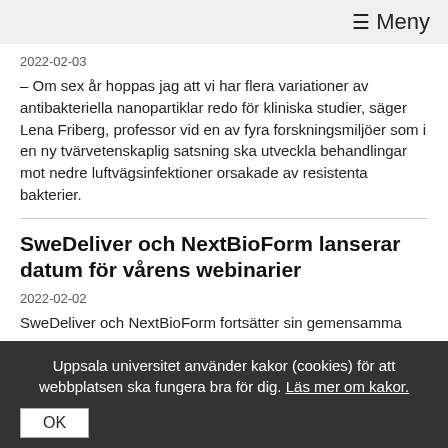≡ Meny
2022-02-03
– Om sex år hoppas jag att vi har flera variationer av antibakteriella nanopartiklar redo för kliniska studier, säger Lena Friberg, professor vid en av fyra forskningsmiljöer som i en ny tvärvetenskaplig satsning ska utveckla behandlingar mot nedre luftvägsinfektioner orsakade av resistenta bakterier.
SweDeliver och NextBioForm lanserar datum för vårens webinarier
2022-02-02
SweDeliver och NextBioForm fortsätter sin gemensamma
Uppsala universitet använder kakor (cookies) för att webbplatsen ska fungera bra för dig. Läs mer om kakor.
OK